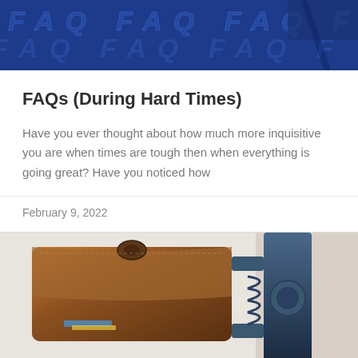[Figure (photo): FAQ text banner with blue text on white/blue background]
FAQs (During Hard Times)
Have you ever thought about how much more inquisitive you are when times are tough then when everything is going great? Have you noticed how
February 9, 2022
[Figure (photo): Brown leather wallet being squeezed by a metal clamp/vise]